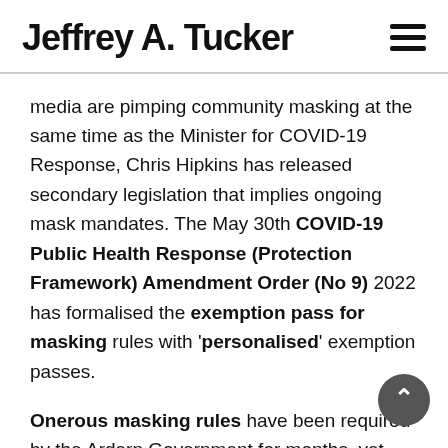Jeffrey A. Tucker
media are pimping community masking at the same time as the Minister for COVID-19 Response, Chris Hipkins has released secondary legislation that implies ongoing mask mandates. The May 30th COVID-19 Public Health Response (Protection Framework) Amendment Order (No 9) 2022 has formalised the exemption pass for masking rules with 'personalised' exemption passes.
Onerous masking rules have been required by the Ardern Government for months, yet COVID-19 ripped through our secondary and tertiary institutes in February 2022, as the school year